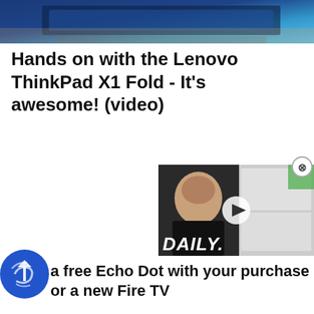[Figure (photo): Partial view of a Lenovo ThinkPad laptop on a wooden surface, blue/dark tones]
Hands on with the Lenovo ThinkPad X1 Fold - It's awesome! (video)
[Figure (screenshot): A floating video popup showing a person and text 'DAILY.' with a play button, and a close (X) button in top right]
a free Echo Dot with your purchase or a new Fire TV